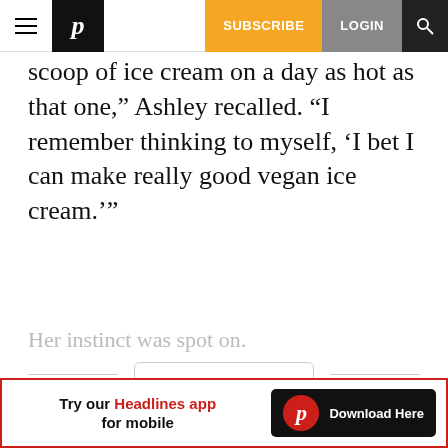SUBSCRIBE  LOGIN
scoop of ice cream on a day as hot as that one," Ashley recalled. “I remember thinking to myself, ‘I bet I can make really good vegan ice cream.’”
Her instinct was spot on.
CONTINUE READING
[Figure (screenshot): Advertisement banner: Try our Headlines app for mobile. Download Here button with P logo.]